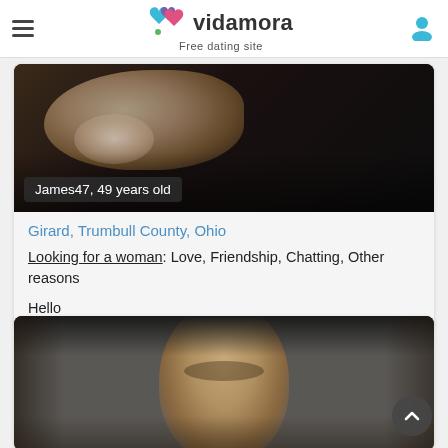vidamora — Free dating site
[Figure (photo): Profile photo for James47, showing a dark close-up image with animal (cat) partially visible, with overlay label 'James47, 49 years old']
Girard, Trumbull County, Ohio
Looking for a woman: Love, Friendship, Chatting, Other reasons
Hello
[Figure (photo): Profile photo of a man looking upward, dark studio-style background]